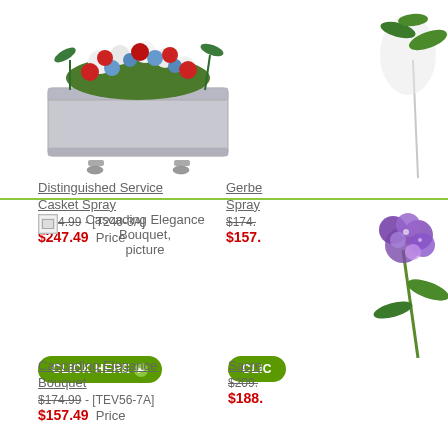[Figure (photo): Distinguished Service Casket Spray with red, white and blue flowers on silver casket]
Distinguished Service Casket Spray
$274.99 - [T240-3A]
$247.49 Price
[Figure (other): CLICK HERE button]
[Figure (photo): Gerbe Spray (partial, cut off) - top right]
Gerbe
Spray
$174.
$157.
[Figure (other): CLIC button (partial)]
[Figure (photo): Cascading Elegance Bouquet, picture (broken image placeholder)]
Cascading Elegance Bouquet, picture
Cascading Elegance Bouquet
$174.99 - [TEV56-7A]
$157.49 Price
[Figure (photo): Sacred (partial) - purple flowers arrangement, right side]
Sacre
$209.
$188.